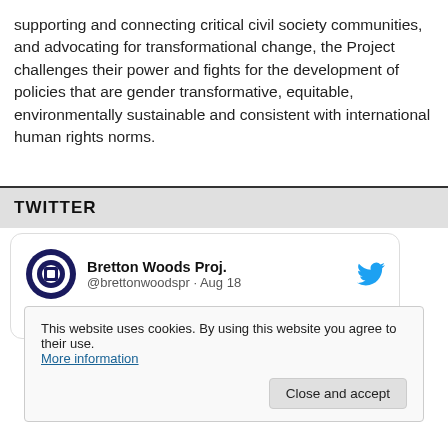supporting and connecting critical civil society communities, and advocating for transformational change, the Project challenges their power and fights for the development of policies that are gender transformative, equitable, environmentally sustainable and consistent with international human rights norms.
TWITTER
[Figure (screenshot): Tweet card from Bretton Woods Proj. (@brettonwoodspr · Aug 18) with BWP logo and Twitter bird icon. Tweet text begins: #News Lens: The World Bank's 'regional]
This website uses cookies. By using this website you agree to their use.
More information
Close and accept